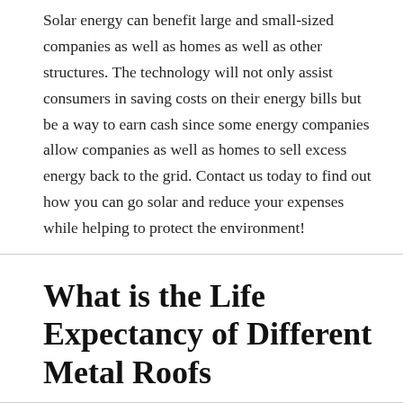Solar energy can benefit large and small-sized companies as well as homes as well as other structures. The technology will not only assist consumers in saving costs on their energy bills but be a way to earn cash since some energy companies allow companies as well as homes to sell excess energy back to the grid. Contact us today to find out how you can go solar and reduce your expenses while helping to protect the environment!
What is the Life Expectancy of Different Metal Roofs